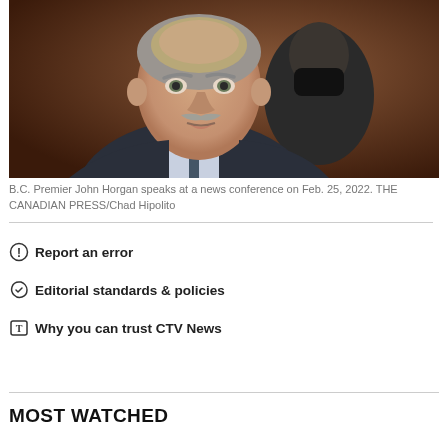[Figure (photo): B.C. Premier John Horgan speaking at a news conference, man with grey mustache in foreground, another person wearing a black mask in background]
B.C. Premier John Horgan speaks at a news conference on Feb. 25, 2022. THE CANADIAN PRESS/Chad Hipolito
Report an error
Editorial standards & policies
Why you can trust CTV News
MOST WATCHED